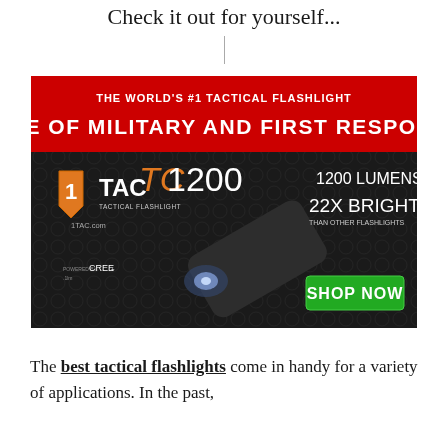Check it out for yourself...
[Figure (infographic): TC1200 1TAC Tactical Flashlight advertisement banner. Red header reads 'THE WORLD'S #1 TACTICAL FLASHLIGHT' and 'CHOICE OF MILITARY AND FIRST RESPONDERS'. Dark background with image of a flashlight. Text: TC1200, 1TAC TACTICAL FLASHLIGHT, 1TAC.com, POWERED BY CREE, 1200 LUMENS!, 22X BRIGHTER THAN OTHER FLASHLIGHTS. Green SHOP NOW button.]
The best tactical flashlights come in handy for a variety of applications. In the past,